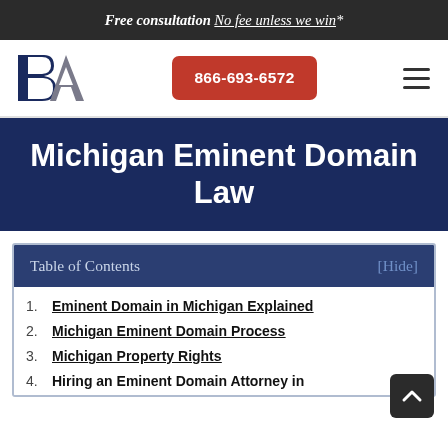Free consultation No fee unless we win*
[Figure (logo): BA law firm logo — bold letters B and A in dark blue/gray]
866-693-6572
Michigan Eminent Domain Law
Table of Contents [Hide]
1. Eminent Domain in Michigan Explained
2. Michigan Eminent Domain Process
3. Michigan Property Rights
4. Hiring an Eminent Domain Attorney in